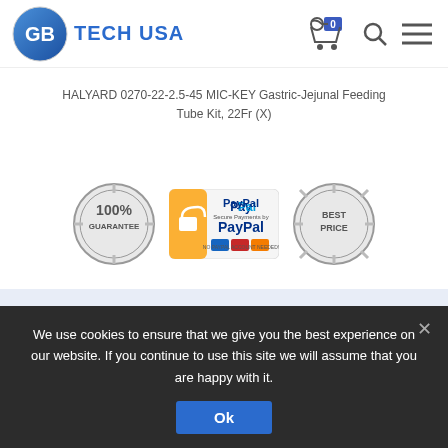[Figure (logo): GB Tech USA logo with circular blue gradient GB icon and blue text 'GB TECH USA']
HALYARD 0270-22-2.5-45 MIC-KEY Gastric-Jejunal Feeding Tube Kit, 22Fr (X)
[Figure (infographic): Three trust badges: 100% Guarantee stamp, PayPal secure payment badge with VISA/Mastercard/MC logos, and Best Price guarantee stamp]
GB Tech USA is a Secured Website. All payment transactions are
We use cookies to ensure that we give you the best experience on our website. If you continue to use this site we will assume that you are happy with it.